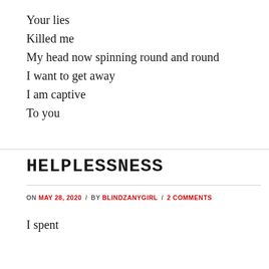Your lies
Killed me
My head now spinning round and round
I want to get away
I am captive
To you
HELPLESSNESS
ON MAY 28, 2020 / BY BLINDZANYGIRL / 2 COMMENTS
I spent